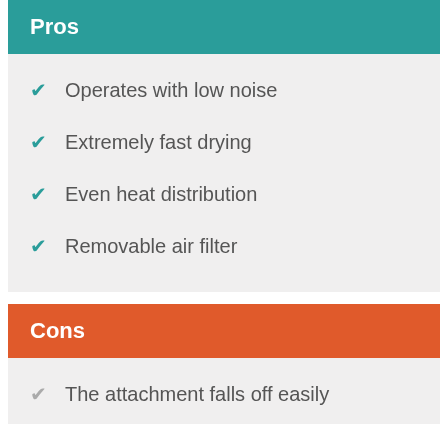Pros
Operates with low noise
Extremely fast drying
Even heat distribution
Removable air filter
Cons
The attachment falls off easily